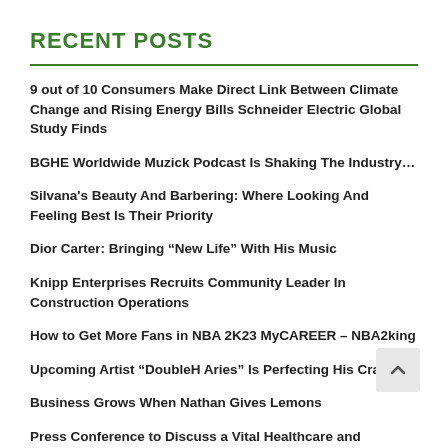RECENT POSTS
9 out of 10 Consumers Make Direct Link Between Climate Change and Rising Energy Bills Schneider Electric Global Study Finds
BGHE Worldwide Muzick Podcast Is Shaking The Industry…
Silvana's Beauty And Barbering: Where Looking And Feeling Best Is Their Priority
Dior Carter: Bringing “New Life” With His Music
Knipp Enterprises Recruits Community Leader In Construction Operations
How to Get More Fans in NBA 2K23 MyCAREER – NBA2king
Upcoming Artist “DoubleH Aries” Is Perfecting His Craft…
Business Grows When Nathan Gives Lemons
Press Conference to Discuss a Vital Healthcare and Housing Catch-22, that Leaves Many Homeless and